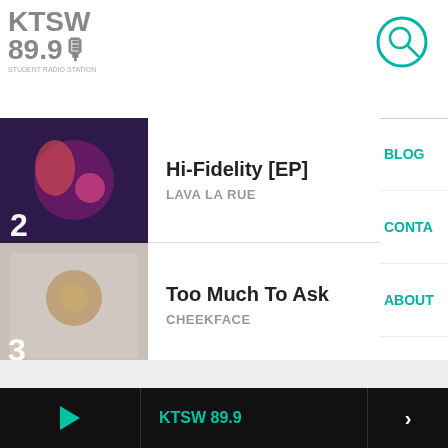KTSW 89.9
2 - Hi-Fidelity [EP] - LAVA LA RUE
3 - Too Much To Ask - CHEEKFACE
4 - Surrender - MAGGIE ROGERS
5 - Could We Be More - KOKOROKO
FULL TRACKLIST
BLOG
CONTA
ABOUT
ON AIR
KTSW 89.9